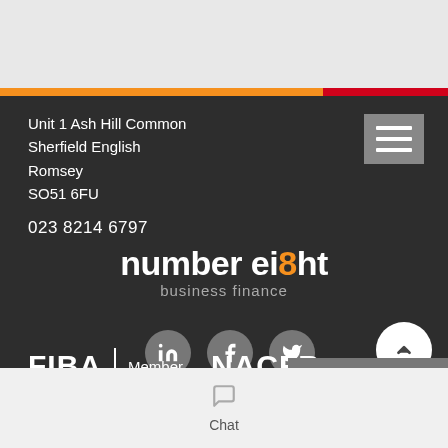[Figure (logo): Top gray header area of a mobile website screenshot]
Unit 1 Ash Hill Common
Sherfield English
Romsey
SO51 6FU
023 8214 6797
[Figure (logo): Number Eight Business Finance logo — 'number eight' in white bold with orange '8', 'business finance' in gray below]
[Figure (infographic): Social media icons: LinkedIn, Facebook, Twitter (gray circles with white icons)]
[Figure (logo): FIBA Member | NACFB logos in white text on dark background]
Chat